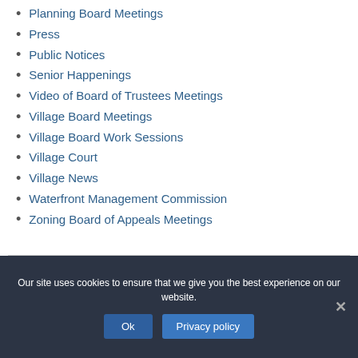Planning Board Meetings
Press
Public Notices
Senior Happenings
Video of Board of Trustees Meetings
Village Board Meetings
Village Board Work Sessions
Village Court
Village News
Waterfront Management Commission
Zoning Board of Appeals Meetings
Our site uses cookies to ensure that we give you the best experience on our website.